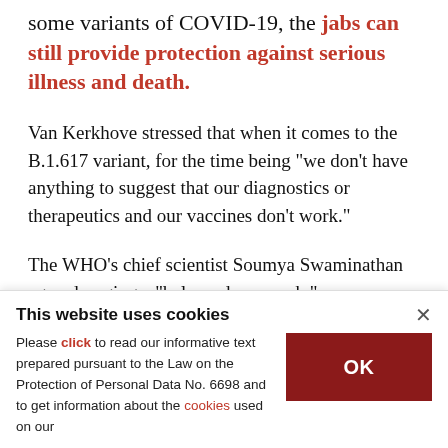some variants of COVID-19, the jabs can still provide protection against serious illness and death.
Van Kerkhove stressed that when it comes to the B.1.617 variant, for the time being "we don't have anything to suggest that our diagnostics or therapeutics and our vaccines don't work."
The WHO's chief scientist Soumya Swaminathan agreed, urging a "balanced approach."
This website uses cookies
Please click to read our informative text prepared pursuant to the Law on the Protection of Personal Data No. 6698 and to get information about the cookies used on our